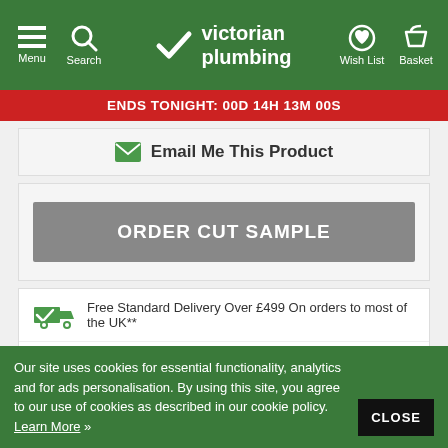Victorian Plumbing — Menu | Search | Wish List | Basket
ENDS TONIGHT: 00D 14H 13M 00S
Email Me This Product
ORDER CUT SAMPLE
Free Standard Delivery Over £499 On orders to most of the UK**
Next Day Delivery Available
ESTIMATED DELIVERY COST
Our site uses cookies for essential functionality, analytics and for ads personalisation. By using this site, you agree to our use of cookies as described in our cookie policy. Learn More » CLOSE